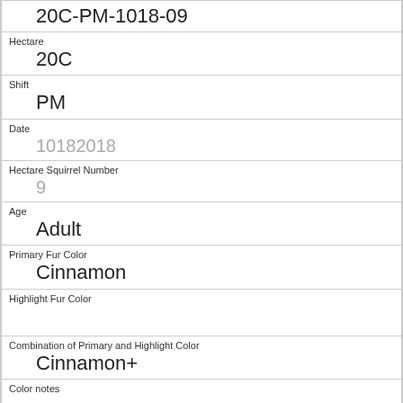20C-PM-1018-09
Hectare
20C
Shift
PM
Date
10182018
Hectare Squirrel Number
9
Age
Adult
Primary Fur Color
Cinnamon
Highlight Fur Color
Combination of Primary and Highlight Color
Cinnamon+
Color notes
Location
Ground Plane